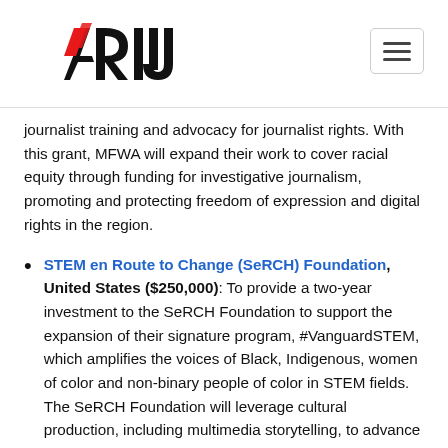ARIJ logo and navigation
journalist training and advocacy for journalist rights. With this grant, MFWA will expand their work to cover racial equity through funding for investigative journalism, promoting and protecting freedom of expression and digital rights in the region.
STEM en Route to Change (SeRCH) Foundation, United States ($250,000): To provide a two-year investment to the SeRCH Foundation to support the expansion of their signature program, #VanguardSTEM, which amplifies the voices of Black, Indigenous, women of color and non-binary people of color in STEM fields. The SeRCH Foundation will leverage cultural production, including multimedia storytelling, to advance non-traditional forms of knowledge creation, to build freely licensed and open rich media content about STEM leaders of